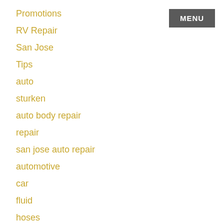Promotions
RV Repair
San Jose
Tips
auto
sturken
auto body repair
repair
san jose auto repair
automotive
car
fluid
hoses
MENU